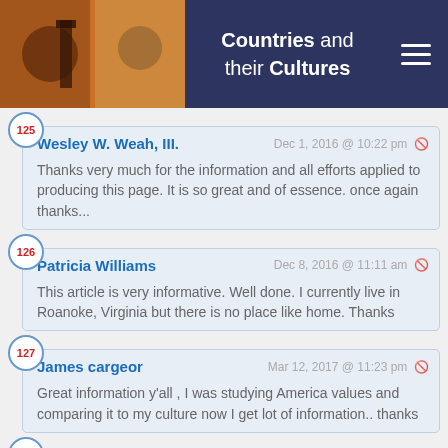Countries and their Cultures
125 Wesley W. Weah, III. Dec 1, 2016 @ 10:22 pm — Thanks very much for the information and all efforts applied to producing this page. It is so great and of essence. once again thanks...
126 Patricia Williams Dec 8, 2016 @ 11:11 am — This article is very informative. Well done. I currently live in Roanoke, Virginia but there is no place like home. Thanks
127 James cargeor Mar 12, 2017 @ 11:23 pm — Great information y'all , I was studying America values and comparing it to my culture now I get lot of information.. thanks
128 sidiki trawally Jul 3, 2017 @ 8:08 am